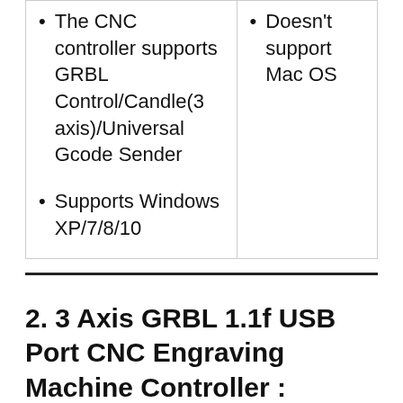| The CNC controller supports GRBL Control/Candle(3 axis)/Universal Gcode Sender

Supports Windows XP/7/8/10 | Doesn't support Mac OS |
2. 3 Axis GRBL 1.1f USB Port CNC Engraving Machine Controller : Premium Pick